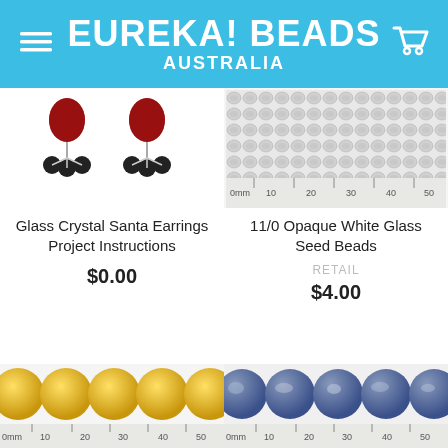EUREKA! BEADS AUSTRALIA
[Figure (photo): Glass Crystal Santa Earrings - red and black beaded earrings]
[Figure (photo): 11/0 Opaque White Glass Seed Beads with ruler scale]
Glass Crystal Santa Earrings Project Instructions
$0.00
11/0 Opaque White Glass Seed Beads
RETAIL
$4.00
[Figure (photo): Yellow round beads strand with ruler scale]
[Figure (photo): Blue and grey round stone beads strand with ruler scale]